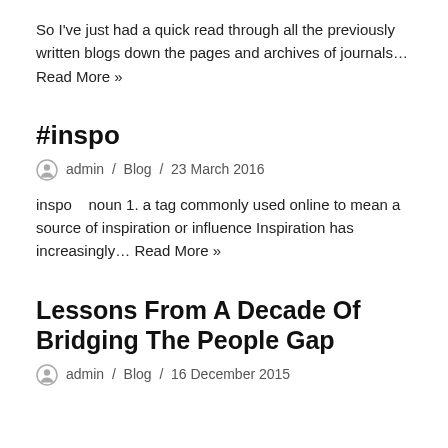So I've just had a quick read through all the previously written blogs down the pages and archives of journals… Read More »
#inspo
admin / Blog / 23 March 2016
inspo   noun 1. a tag commonly used online to mean a source of inspiration or influence Inspiration has increasingly… Read More »
Lessons From A Decade Of Bridging The People Gap
admin / Blog / 16 December 2015